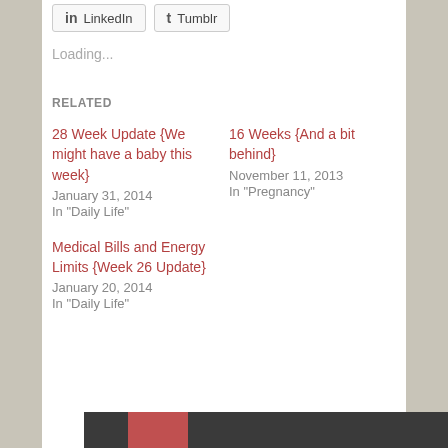[Figure (screenshot): Social share buttons: LinkedIn and Tumblr]
Loading...
RELATED
28 Week Update {We might have a baby this week}
January 31, 2014
In "Daily Life"
16 Weeks {And a bit behind}
November 11, 2013
In "Pregnancy"
Medical Bills and Energy Limits {Week 26 Update}
January 20, 2014
In "Daily Life"